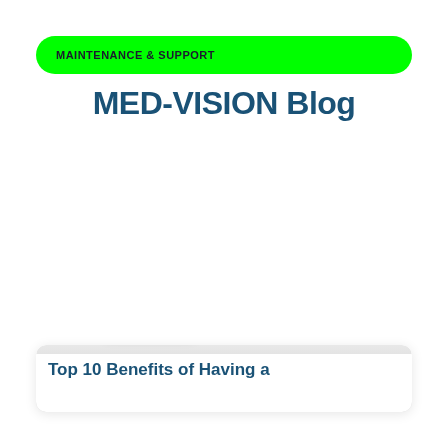MAINTENANCE & SUPPORT
MED-VISION Blog
[Figure (screenshot): Blog post card with gray gradient placeholder image, MED-VISION NEWS badge, a pink chat button with notification badge showing '1', a Contact us tooltip bubble, and the beginning of an article title 'Top 10 Benefits of Having a']